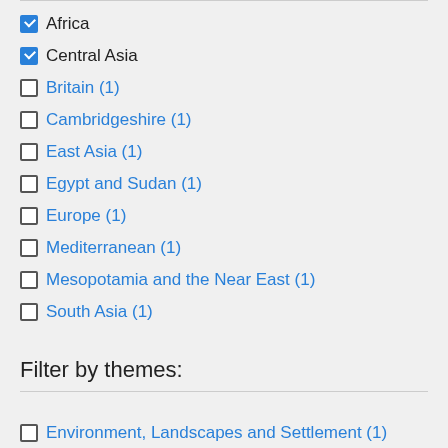Africa (checked)
Central Asia (checked)
Britain (1)
Cambridgeshire (1)
East Asia (1)
Egypt and Sudan (1)
Europe (1)
Mediterranean (1)
Mesopotamia and the Near East (1)
South Asia (1)
Filter by themes:
Environment, Landscapes and Settlement (1)
Science, Technology and Innovation (1)